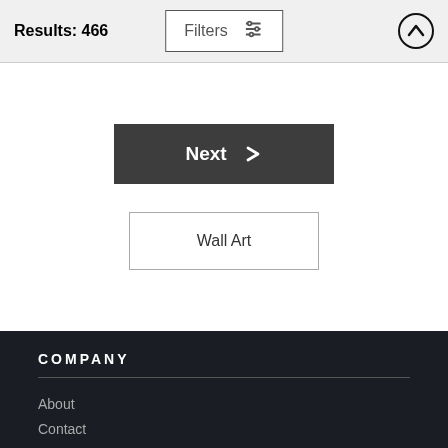Results: 466
Filters
Next
Wall Art
COMPANY
About
Contact
News
Start Shopping